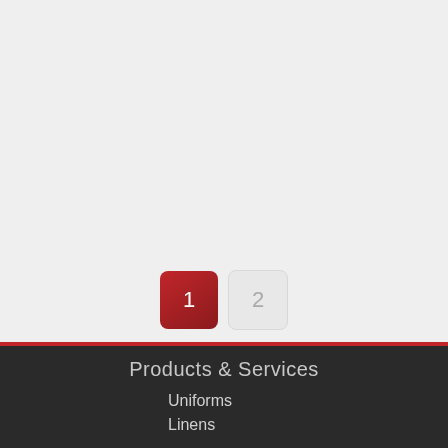[Figure (other): Pagination buttons: button 1 active (red), button 2 inactive (light gray)]
Products & Services
Uniforms
Linens